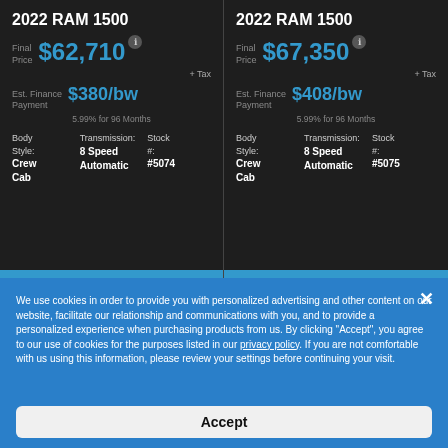2022 RAM 1500
Final Price $62,710 + Tax
Est. Finance Payment $380/bw 5.99% for 96 Months
Body Style: Crew Cab | Transmission: 8 Speed Automatic | Stock #: #5074
View More Details
2022 RAM 1500
Final Price $67,350 + Tax
Est. Finance Payment $408/bw 5.99% for 96 Months
Body Style: Crew Cab | Transmission: 8 Speed Automatic | Stock #: #5075
View More Details
We use cookies in order to provide you with personalized advertising and other content on our website, facilitate our relationship and communications with you, and to provide a personalized experience when purchasing products from us. By clicking "Accept", you agree to our use of cookies for the purposes listed in our privacy policy. If you are not comfortable with us using this information, please review your settings before continuing your visit.
Accept